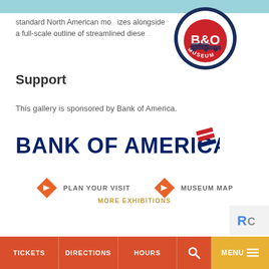standard North American mo... izes alongside a full-scale outline of streamlined diese...
[Figure (logo): B&O Railroad Museum circular logo — dark navy blue border with text 'RAILROAD MUSEUM', red center with 'B&O' in white, train silhouette at bottom]
Support
This gallery is sponsored by Bank of America.
[Figure (logo): Bank of America logo — bold navy blue text 'BANK OF AMERICA' with red and blue diagonal stripe flag icon to the right]
[Figure (infographic): Two navigation buttons: orange diamond arrow icon + 'PLAN YOUR VISIT' and orange diamond arrow icon + 'MUSEUM MAP']
MORE EXHIBITIONS
TICKETS   DIRECTIONS   HOURS   [search]   MENU